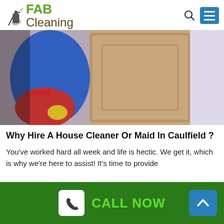FAB Cleaning
[Figure (photo): A person wearing a blue and red uniform standing near a wooden door, seemingly a cleaning service worker.]
Why Hire A House Cleaner Or Maid In Caulfield ?
You've worked hard all week and life is hectic. We get it, which is why we're here to assist! It's time to provide
CALL NOW